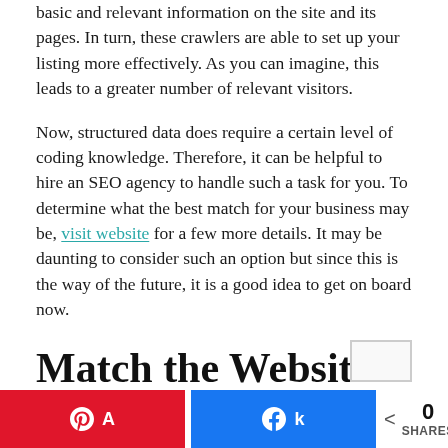basic and relevant information on the site and its pages. In turn, these crawlers are able to set up your listing more effectively. As you can imagine, this leads to a greater number of relevant visitors.
Now, structured data does require a certain level of coding knowledge. Therefore, it can be helpful to hire an SEO agency to handle such a task for you. To determine what the best match for your business may be, visit website for a few more details. It may be daunting to consider such an option but since this is the way of the future, it is a good idea to get on board now.
Match the Website Layout to Fit New Search Engine